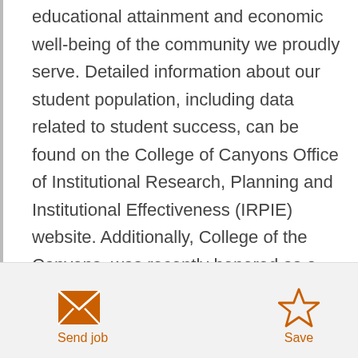educational attainment and economic well-being of the community we proudly serve. Detailed information about our student population, including data related to student success, can be found on the College of Canyons Office of Institutional Research, Planning and Institutional Effectiveness (IRPIE) website. Additionally, College of the Canyons, was recently honored as a 2021 Bellwether College Consortium award winner, was honored in 2018, 2019 and 2021 with the Champion of Higher Education award, was ranked #1 in Los Angeles County during 2019 as the best two-year college for
Send job | Save